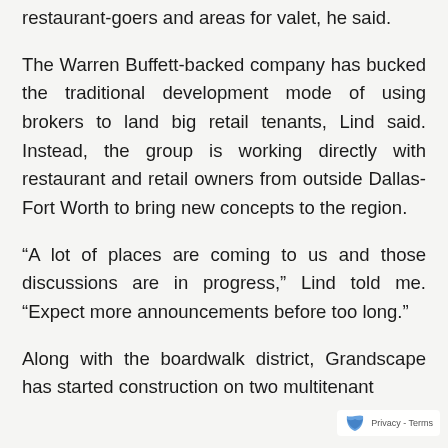restaurant-goers and areas for valet, he said.
The Warren Buffett-backed company has bucked the traditional development mode of using brokers to land big retail tenants, Lind said. Instead, the group is working directly with restaurant and retail owners from outside Dallas-Fort Worth to bring new concepts to the region.
“A lot of places are coming to us and those discussions are in progress,” Lind told me. “Expect more announcements before too long.”
Along with the boardwalk district, Grandscape has started construction on two multitenant